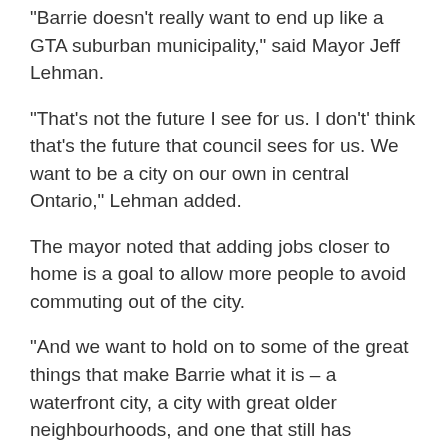"Barrie doesn't really want to end up like a GTA suburban municipality," said Mayor Jeff Lehman.
"That's not the future I see for us. I don't' think that's the future that council sees for us. We want to be a city on our own in central Ontario," Lehman added.
The mayor noted that adding jobs closer to home is a goal to allow more people to avoid commuting out of the city.
"And we want to hold on to some of the great things that make Barrie what it is – a waterfront city, a city with great older neighbourhoods, and one that still has everything that you need inside the city," he finished.